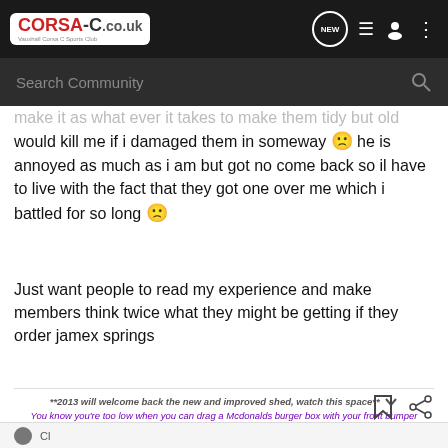CORSA-C.co.uk — Vauxhall Corsa C Sports Club — Search Community
would kill me if i damaged them in someway 🙁 he is annoyed as much as i am but got no come back so il have to live with the fact that they got one over me which i battled for so long 🙁
Just want people to read my experience and make members think twice what they might be getting if they order jamex springs
**2013 will welcome back the new and improved shed, watch this space**
You know you're too low when you can drag a Mcdonalds burger box with your front bumper